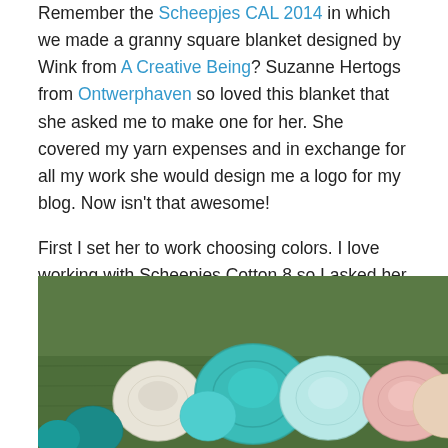Remember the Scheepjes CAL 2014 in which we made a granny square blanket designed by Wink from A Creative Being? Suzanne Hertogs from Ontwerphaven so loved this blanket that she asked me to make one for her. She covered my yarn expenses and in exchange for all my work she would design me a logo for my blog. Now isn't that awesome!

First I set her to work choosing colors. I love working with Scheepjes Cotton 8 so I asked her to choose from the 52 colors in which this yarn is available. With so many colors to choose from she really had to give it some though. She picked these colors…
[Figure (photo): Photograph of several yarn balls in various colors (white, teal/turquoise, light blue, pink, peach) resting on green grass.]